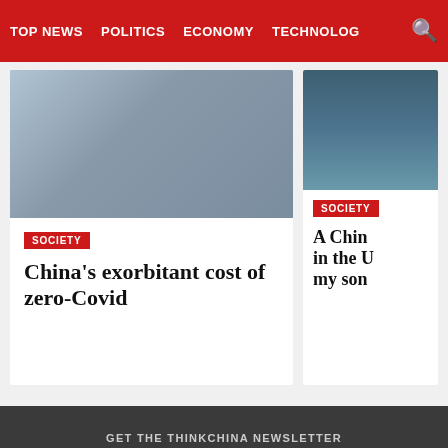TOP NEWS  POLITICS  ECONOMY  TECHNOLOG
[Figure (photo): People wearing masks walking in a street, likely in China during Covid measures]
SOCIETY
China's exorbitant cost of zero-Covid
[Figure (photo): A canal scene with a boat, likely in China]
SOCIETY
A Chin in the U my son
GET THE THINKCHINA NEWSLETTER